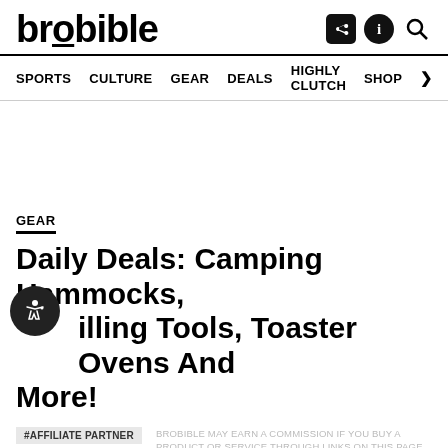brobible
SPORTS  CULTURE  GEAR  DEALS  HIGHLY CLUTCH  SHOP >
GEAR
Daily Deals: Camping Hammocks, Grilling Tools, Toaster Ovens And More!
#AFFILIATE PARTNER
BROBIBLE MAY EARN A COMMISSION IF YOU BUY A PRODUCT OR SERVICE THROUGH LINKS ON THIS PAGE.
BY SEAN COSTELLO / JUNE 20, 2022